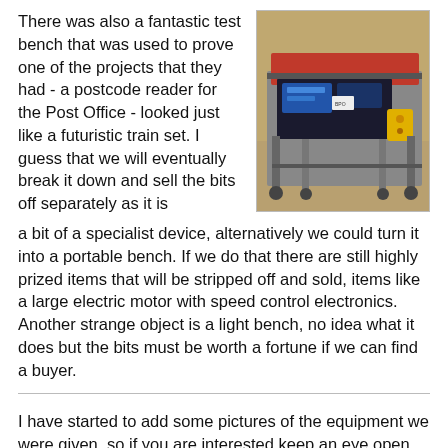There was also a fantastic test bench that was used to prove one of the projects that they had - a postcode reader for the Post Office - looked just like a futuristic train set. I guess that we will eventually break it down and sell the bits off separately as it is a bit of a specialist device, alternatively we could turn it into a portable bench. If we do that there are still highly prized items that will be stripped off and sold, items like a large electric motor with speed control electronics. Another strange object is a light bench, no idea what it does but the bits must be worth a fortune if we can find a buyer.
[Figure (photo): A large industrial/engineering test bench machine on wheels with metal frame, red top, blue electronic components visible inside, yellow control box on the side.]
I have started to add some pictures of the equipment we were given, so if you are interested keep an eye open here and I shall add them when I can. Richard has already started to advertise items on our eBay site, reels of wire th↑ Top of page ↑ already brought us in excess of £70, an Intel i7 processor,